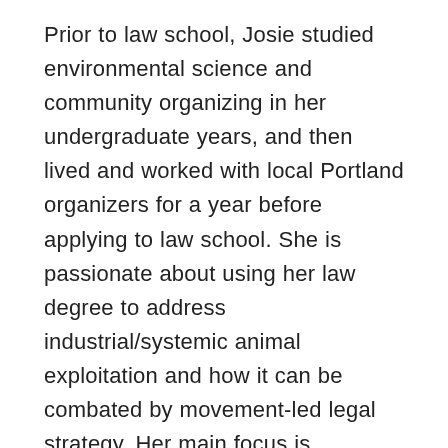Prior to law school, Josie studied environmental science and community organizing in her undergraduate years, and then lived and worked with local Portland organizers for a year before applying to law school. She is passionate about using her law degree to address industrial/systemic animal exploitation and how it can be combated by movement-led legal strategy. Her main focus is Concentrated Animal Feeding Operations (CAFOs, commonly referred to as “factory farms”) in the state of Oregon. She will be beginning a year-long fellowship with the Breach Collective in the fall, and hopes to contribute to their work combatting local pollution and fossil fuel infrastructure in Portland.